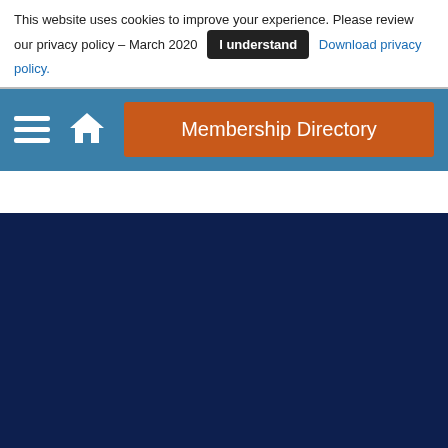This website uses cookies to improve your experience. Please review our privacy policy – March 2020   I understand   Download privacy policy.
[Figure (screenshot): Navigation bar with hamburger menu icon, home icon, and orange Membership Directory button on a teal/steel blue background]
[Figure (screenshot): Dark navy blue background section, empty content area]